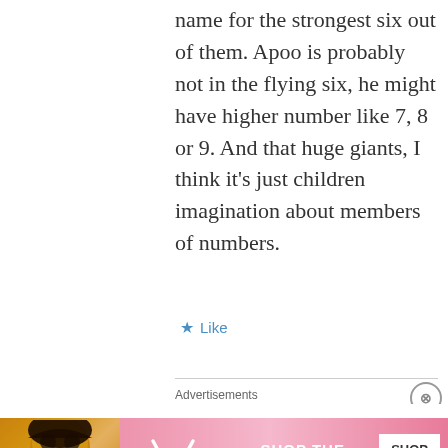name for the strongest six out of them. Apoo is probably not in the flying six, he might have higher number like 7, 8 or 9. And that huge giants, I think it's just children imagination about members of numbers.
★ Like
Advertisements
Advertisements
[Figure (photo): Victoria's Secret advertisement banner with a model, VS logo, 'SHOP THE COLLECTION' text, and 'SHOP NOW' button on a pink background]